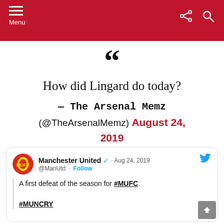Menu
How did Lingard do today?
— The Arsenal Memz (@TheArsenalMemz) August 24, 2019
Manchester United · Aug 24, 2019
@ManUtd · Follow
A first defeat of the season for #MUFC.

#MUNCRY